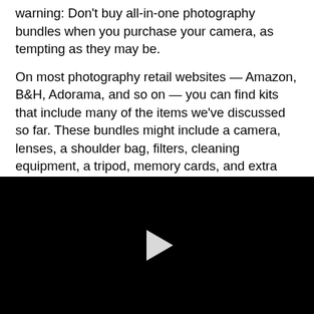warning: Don't buy all-in-one photography bundles when you purchase your camera, as tempting as they may be.
On most photography retail websites — Amazon, B&H, Adorama, and so on — you can find kits that include many of the items we've discussed so far. These bundles might include a camera, lenses, a shoulder bag, filters, cleaning equipment, a tripod, memory cards, and extra batteries, among other possible accessories. For the "convenience," these bundles often cost $100+ more
[Figure (other): Black video player area with a white play button triangle in the center]